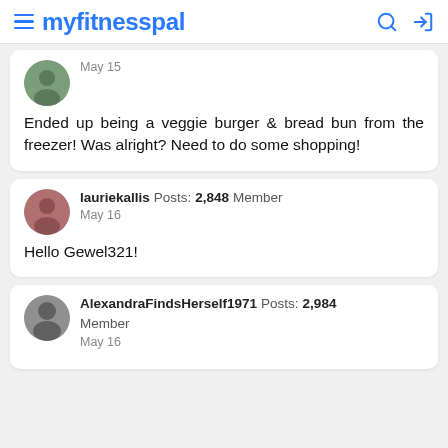myfitnesspal
May 15
Ended up being a veggie burger & bread bun from the freezer! Was alright? Need to do some shopping!
lauriekallis  Posts: 2,848  Member
May 16
Hello Gewel321!
AlexandraFindsHerself1971  Posts: 2,984
Member
May 16